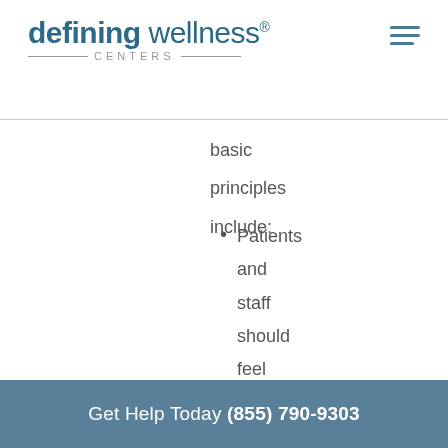defining wellness® CENTERS
basic principles include:
Patients and staff should feel both physically
Get Help Today (855) 790-9303